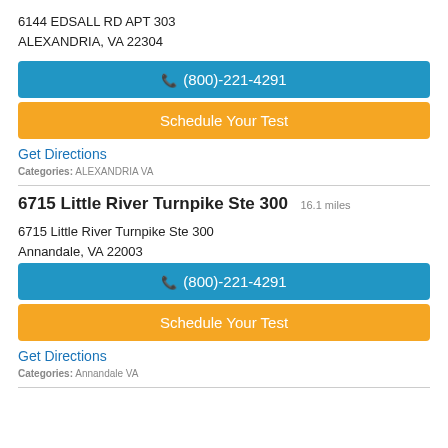6144 EDSALL RD APT 303
ALEXANDRIA, VA 22304
☎ (800)-221-4291
Schedule Your Test
Get Directions
Categories: ALEXANDRIA VA
6715 Little River Turnpike Ste 300  16.1 miles
6715 Little River Turnpike Ste 300
Annandale, VA 22003
☎ (800)-221-4291
Schedule Your Test
Get Directions
Categories: Annandale VA